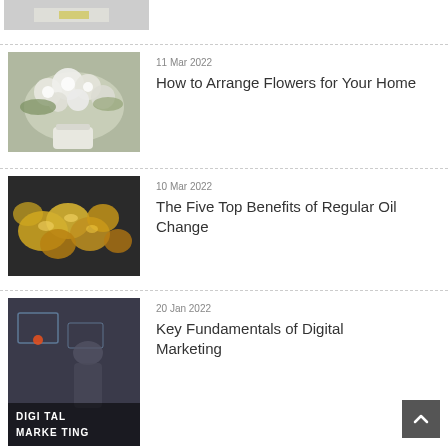[Figure (photo): Partial view of a product image at top of page]
[Figure (photo): White and green floral arrangement in a vase]
11 Mar 2022
How to Arrange Flowers for Your Home
[Figure (photo): Gold metallic objects, possibly car parts or gears]
10 Mar 2022
The Five Top Benefits of Regular Oil Change
[Figure (photo): Digital marketing concept image with text DIGITAL MARKETING overlay]
20 Jan 2022
Key Fundamentals of Digital Marketing